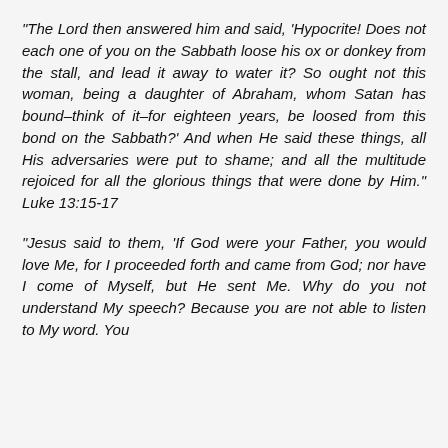“The Lord then answered him and said, ‘Hypocrite! Does not each one of you on the Sabbath loose his ox or donkey from the stall, and lead it away to water it? So ought not this woman, being a daughter of Abraham, whom Satan has bound–think of it–for eighteen years, be loosed from this bond on the Sabbath?’ And when He said these things, all His adversaries were put to shame; and all the multitude rejoiced for all the glorious things that were done by Him.” Luke 13:15-17
“Jesus said to them, ‘If God were your Father, you would love Me, for I proceeded forth and came from God; nor have I come of Myself, but He sent Me. Why do you not understand My speech? Because you are not able to listen to My word. You